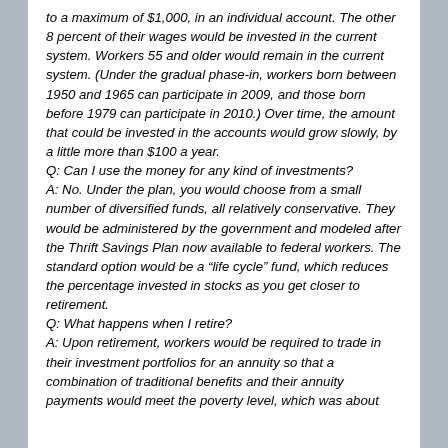to a maximum of $1,000, in an individual account. The other 8 percent of their wages would be invested in the current system. Workers 55 and older would remain in the current system. (Under the gradual phase-in, workers born between 1950 and 1965 can participate in 2009, and those born before 1979 can participate in 2010.) Over time, the amount that could be invested in the accounts would grow slowly, by a little more than $100 a year. Q: Can I use the money for any kind of investments? A: No. Under the plan, you would choose from a small number of diversified funds, all relatively conservative. They would be administered by the government and modeled after the Thrift Savings Plan now available to federal workers. The standard option would be a “life cycle” fund, which reduces the percentage invested in stocks as you get closer to retirement. Q: What happens when I retire? A: Upon retirement, workers would be required to trade in their investment portfolios for an annuity so that a combination of traditional benefits and their annuity payments would meet the poverty level, which was about